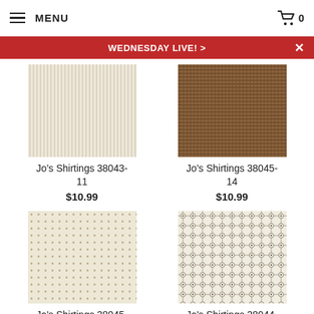MENU  🛒 0
WEDNESDAY LIVE! >
Jo's Shirtings 38043-11
$10.99
Jo's Shirtings 38045-14
$10.99
Jo's Shirtings 38045-12
$10.99
Jo's Shirtings 38044-21
$10.99